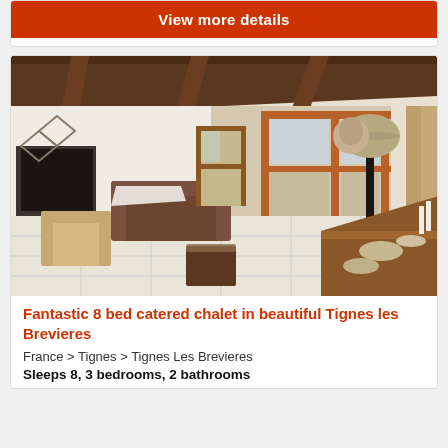View more details
[Figure (photo): Interior of a chalet showing a spacious living and dining area with wooden beams, large windows with orange wooden frames, leather sofas, a wooden dining table with place settings, a floor lamp with a taupe shade, and white tiled floors.]
Fantastic 8 bed catered chalet in beautiful Tignes les Brevieres
France > Tignes > Tignes Les Brevieres
Sleeps 8, 3 bedrooms, 2 bathrooms